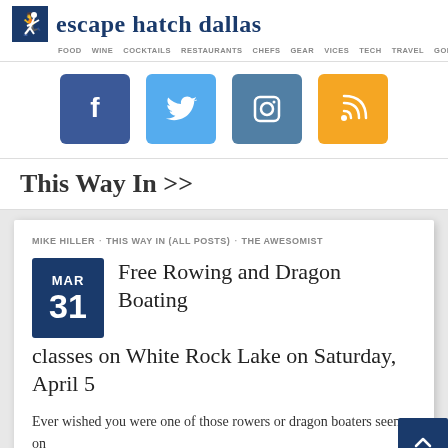[Figure (logo): Escape Hatch Dallas logo with running figure icon and site name in dark blue serif font, navigation links: FOOD WINE COCKTAILS RESTAURANTS CHEFS GEAR VICES TECH TRAVEL GOLF]
[Figure (infographic): Social media icon buttons: Facebook (dark blue), Twitter (light blue), Instagram (steel blue), RSS (orange)]
This Way In >>
MIKE HILLER · THIS WAY IN (ALL POSTS) · THE AWESOMIST
Free Rowing and Dragon Boating classes on White Rock Lake on Saturday, April 5
Ever wished you were one of those rowers or dragon boaters seen on